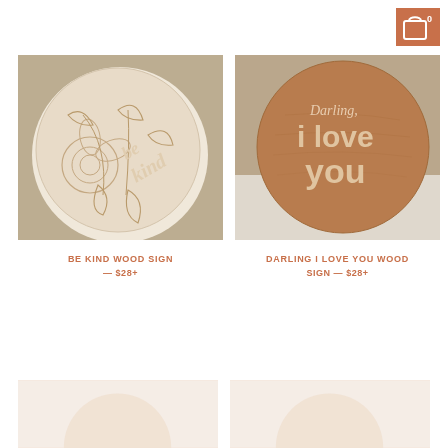[Figure (screenshot): Shopping cart icon on terracotta/orange background, top right corner, showing '0' count]
[Figure (photo): Wooden circular sign with laser-engraved floral design and cursive 'be kind' text, on white fabric and woven texture background]
BE KIND WOOD SIGN
— $28+
[Figure (photo): Round wooden sign with '3D raised lettering reading Darling, i love you' on warm medium brown wood, on white fabric background]
DARLING I LOVE YOU WOOD SIGN
— $28+
[Figure (photo): Partial view of a third product, light blush/cream wooden circle sign, cropped at bottom]
[Figure (photo): Partial view of a fourth product, light blush/cream wooden circle sign, cropped at bottom]